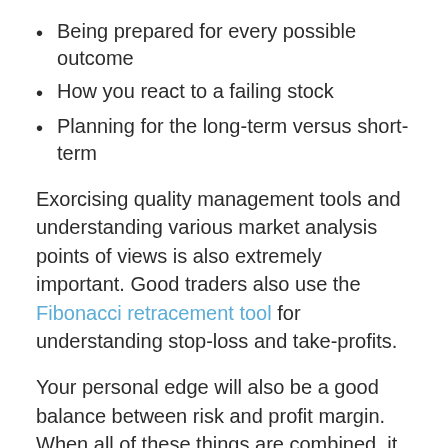Being prepared for every possible outcome
How you react to a failing stock
Planning for the long-term versus short-term
Exorcising quality management tools and understanding various market analysis points of views is also extremely important. Good traders also use the Fibonacci retracement tool for understanding stop-loss and take-profits.
Your personal edge will also be a good balance between risk and profit margin. When all of these things are combined, it will create your own personal trading edge. Try to sharpen it as much as possible in order to create a thriving business.